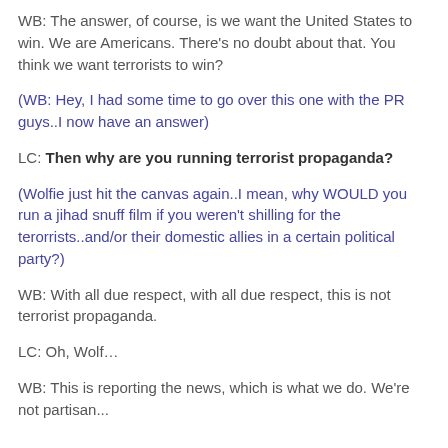WB: The answer, of course, is we want the United States to win. We are Americans. There's no doubt about that. You think we want terrorists to win?
(WB: Hey, I had some time to go over this one with the PR guys..I now have an answer)
LC: Then why are you running terrorist propaganda?
(Wolfie just hit the canvas again..I mean, why WOULD you run a jihad snuff film if you weren't shilling for the terorrists..and/or their domestic allies in a certain political party?)
WB: With all due respect, with all due respect, this is not terrorist propaganda.
LC: Oh, Wolf…
WB: This is reporting the news, which is what we do. We're not partisan...